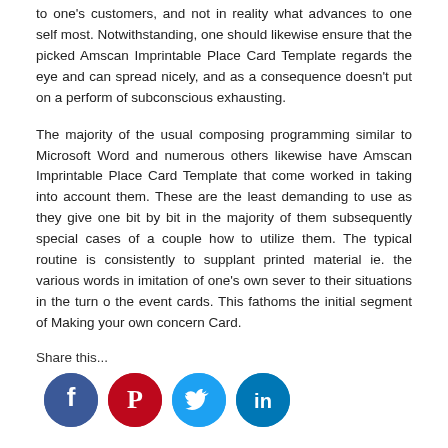to one's customers, and not in reality what advances to one self most. Notwithstanding, one should likewise ensure that the picked Amscan Imprintable Place Card Template regards the eye and can spread nicely, and as a consequence doesn't put on a perform of subconscious exhausting.
The majority of the usual composing programming similar to Microsoft Word and numerous others likewise have Amscan Imprintable Place Card Template that come worked in taking into account them. These are the least demanding to use as they give one bit by bit in the majority of them subsequently special cases of a couple how to utilize them. The typical routine is consistently to supplant printed material ie. the various words in imitation of one's own sever to their situations in the turn o the event cards. This fathoms the initial segment of Making your own concern Card.
Share this...
[Figure (infographic): Four social media icons in circles: Facebook (dark blue), Pinterest (red), Twitter (light blue), LinkedIn (dark blue)]
Related posts of "Amscan Imprintable Place Card Template"